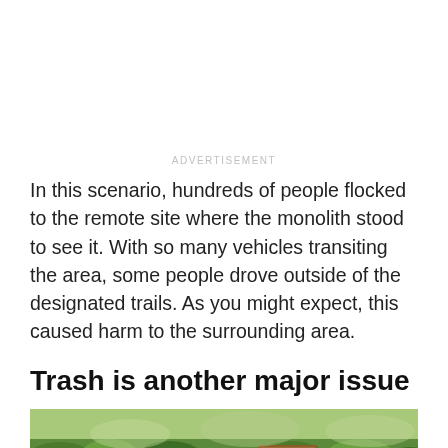ADVERTISEMENT
In this scenario, hundreds of people flocked to the remote site where the monolith stood to see it. With so many vehicles transiting the area, some people drove outside of the designated trails. As you might expect, this caused harm to the surrounding area.
Trash is another major issue
[Figure (photo): Outdoor nature scene showing green shrubs and vegetation with a brown informational sign visible in the background]